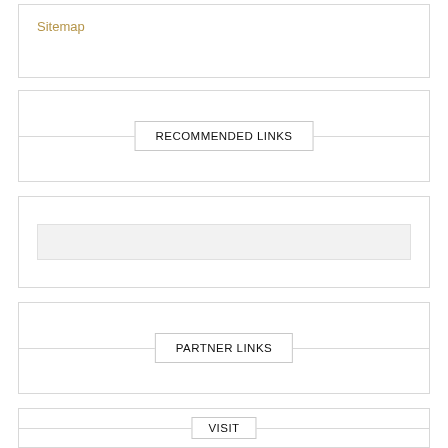Sitemap
RECOMMENDED LINKS
[Figure (other): Search input box, light gray background]
PARTNER LINKS
VISIT